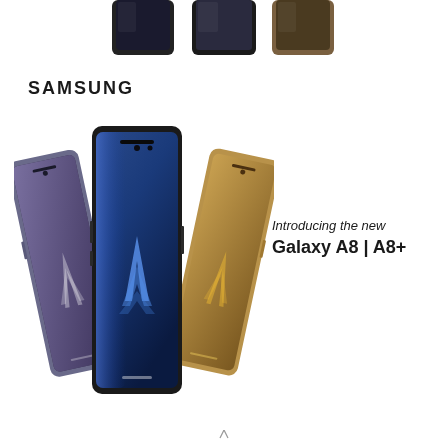[Figure (photo): Three Samsung Galaxy smartphones partially visible at the top of the page, showing tops of the devices in black/dark colors]
SAMSUNG
[Figure (photo): Three Samsung Galaxy A8 smartphones arranged in a fan layout: left device in lavender/orchid gray, center device in black with blue wallpaper showing Galaxy A logo, right device in gold/sunrise gold color. All showing the Infinity Display with minimal bezels.]
Introducing the new
Galaxy A8 | A8+